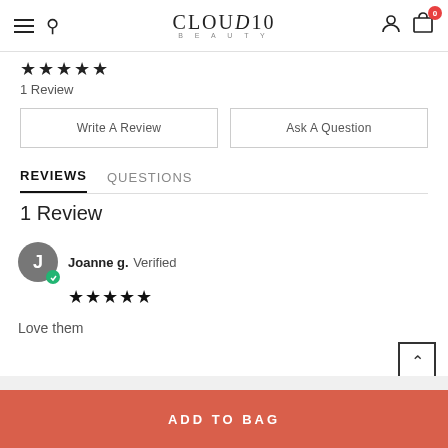CLOUD10 BEAUTY navigation header
★★★★★ 1 Review
Write A Review | Ask A Question
REVIEWS   QUESTIONS
1 Review
Joanne g. Verified ★★★★★ Love them